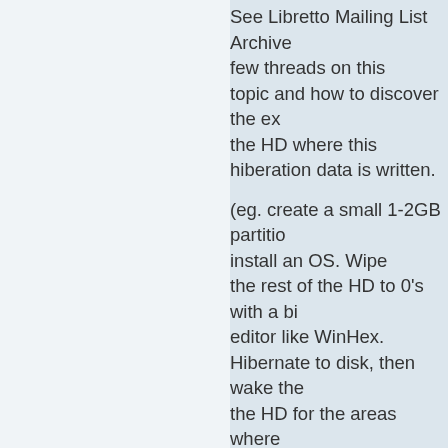See Libretto Mailing List Archive for a few threads on this topic and how to discover the exact area of the HD where this hiberation data is written.

(eg. create a small 1-2GB partition and install an OS. Wipe the rest of the HD to 0's with a binary editor like WinHex. Hibernate to disk, then wake the machine. Search the HD for the areas where data has been written - ie. not 0 anymore. There is a 8.4GB area. Partition around this, leaving 50-100MB of buffer to be safe.)

---

If you use any OS except Linux, you will need to install a